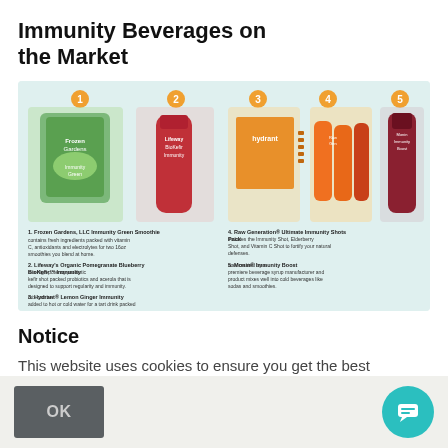Immunity Beverages on the Market
[Figure (infographic): Infographic showing 5 immunity beverages: 1. Frozen Gardens LLC Immunity Green Smoothie, 2. Lifeway's Organic Pomegranate Blueberry BioKefir Immunity, 3. Hydrant Lemon Ginger Immunity mix, 4. Raw Generation Ultimate Immunity Shots Pack, 5. Monin Immunity Boost. Shows product images with descriptions.]
Notice
This website uses cookies to ensure you get the best experience on our website. Learn more